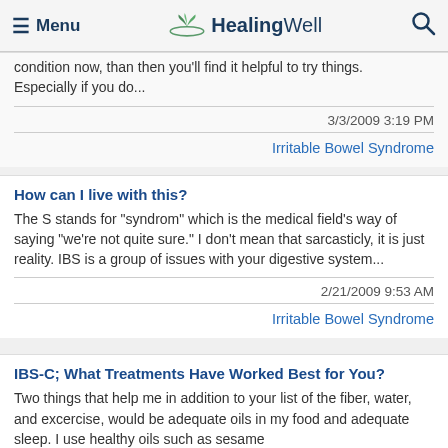Menu | HealingWell | Search
condition now, than then you'll find it helpful to try things. Especially if you do...
3/3/2009 3:19 PM
Irritable Bowel Syndrome
How can I live with this?
The S stands for "syndrom" which is the medical field's way of saying "we're not quite sure." I don't mean that sarcasticly, it is just reality. IBS is a group of issues with your digestive system...
2/21/2009 9:53 AM
Irritable Bowel Syndrome
IBS-C; What Treatments Have Worked Best for You?
Two things that help me in addition to your list of the fiber, water, and excercise, would be adequate oils in my food and adequate sleep. I use healthy oils such as sesame...